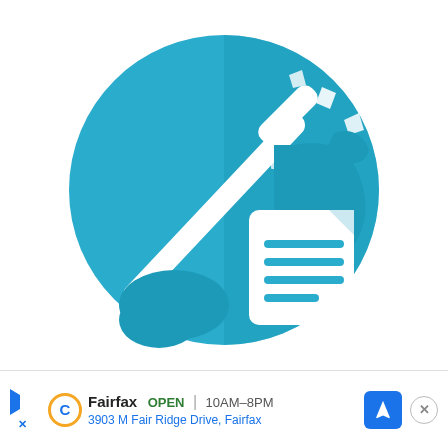[Figure (logo): Circular teal/blue logo with a window squeegee tool on the left half and a spray bottle with a document icon on the right half, with scattered debris particles, on a white background]
Fairfax  OPEN  10AM–8PM  3903 M Fair Ridge Drive, Fairfax